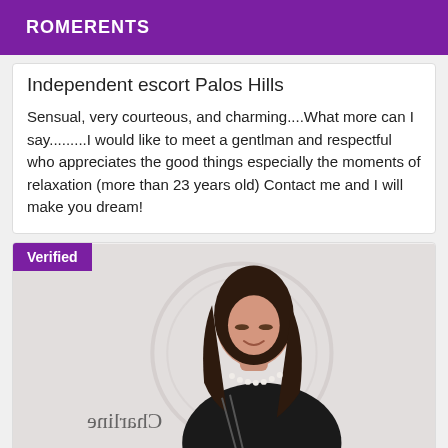ROMERENTS
Independent escort Palos Hills
Sensual, very courteous, and charming....What more can I say.........I would like to meet a gentlman and respectful who appreciates the good things especially the moments of relaxation (more than 23 years old) Contact me and I will make you dream!
[Figure (photo): Photo of a dark-haired woman looking down, smiling, wearing a black dress with pearl necklace, with mirrored text 'Charline' visible in the lower left, and a large circular watermark in the background. A 'Verified' badge appears in the top-left corner.]